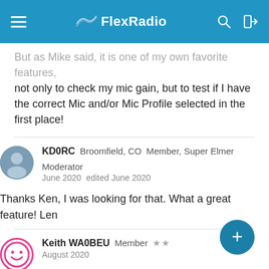FlexRadio
But as Mike said, it is one of my own favorite features, not only to check my mic gain, but to test if I have the correct Mic and/or Mic Profile selected in the first place!
KD0RC  Broomfield, CO  Member, Super Elmer  Moderator
June 2020  edited June 2020
Thanks Ken, I was looking for that. What a great feature! Len
Keith WA0BEU  Member  ★★
August 2020
Thanks Mike and Ken!!!